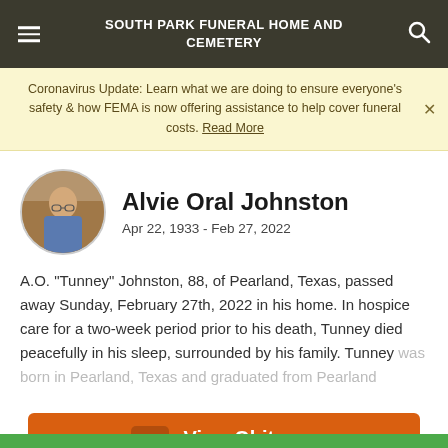SOUTH PARK FUNERAL HOME AND CEMETERY
Coronavirus Update: Learn what we are doing to ensure everyone's safety & how FEMA is now offering assistance to help cover funeral costs. Read More
Alvie Oral Johnston
Apr 22, 1933 - Feb 27, 2022
A.O. "Tunney" Johnston, 88, of Pearland, Texas, passed away Sunday, February 27th, 2022 in his home. In hospice care for a two-week period prior to his death, Tunney died peacefully in his sleep, surrounded by his family. Tunney was born in Pearland, Texas and graduated from Pearland
View Obituary & Service